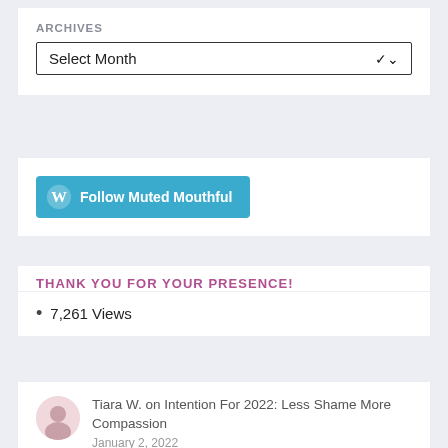ARCHIVES
Select Month
[Figure (screenshot): Follow Muted Mouthful button with WordPress icon on teal background]
THANK YOU FOR YOUR PRESENCE!
7,261 Views
Tiara W. on Intention For 2022: Less Shame More Compassion
January 2, 2022
Absolutely! Cheers to you, friend!